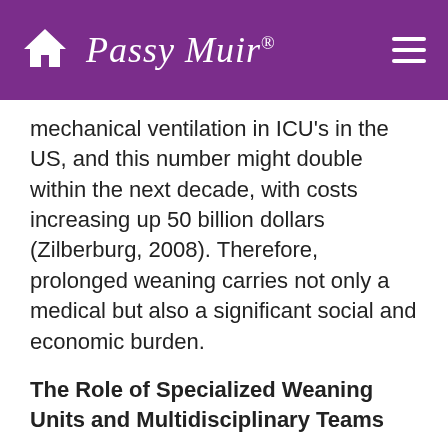Passy Muir
mechanical ventilation in ICU's in the US, and this number might double within the next decade, with costs increasing up 50 billion dollars (Zilberburg, 2008). Therefore, prolonged weaning carries not only a medical but also a significant social and economic burden.
The Role of Specialized Weaning Units and Multidisciplinary Teams
The appropriateness of the ICU environment for long-term management of patients undergoing prolonged weaning may be